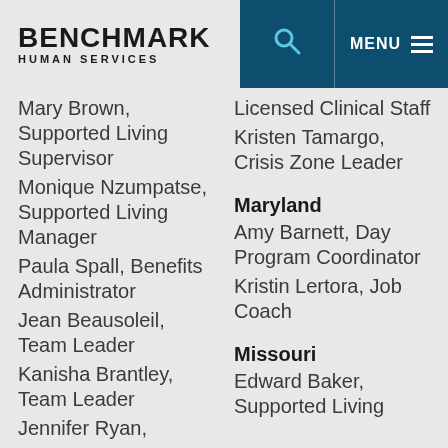BENCHMARK HUMAN SERVICES
Mary Brown, Supported Living Supervisor
Monique Nzumpatse, Supported Living Manager
Paula Spall, Benefits Administrator
Jean Beausoleil, Team Leader
Kanisha Brantley, Team Leader
Jennifer Ryan,
Licensed Clinical Staff
Kristen Tamargo, Crisis Zone Leader
Maryland
Amy Barnett, Day Program Coordinator
Kristin Lertora, Job Coach
Missouri
Edward Baker, Supported Living